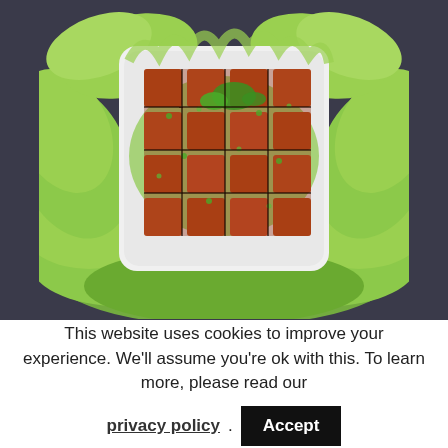[Figure (photo): Overhead shot of braised tofu pieces arranged in a grid pattern on a white square plate, garnished with green onions and cilantro in a dark sauce, surrounded by fresh green lettuce leaves. The plate is on a dark grey background.]
This website uses cookies to improve your experience. We'll assume you're ok with this. To learn more, please read our privacy policy . Accept